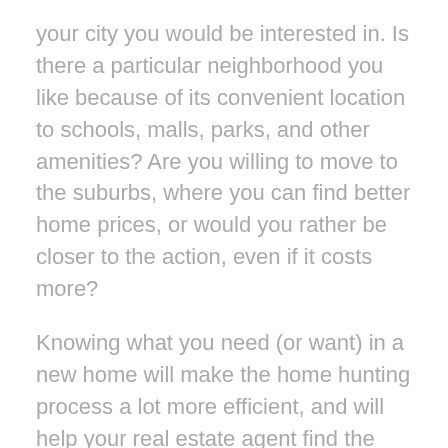your city you would be interested in. Is there a particular neighborhood you like because of its convenient location to schools, malls, parks, and other amenities? Are you willing to move to the suburbs, where you can find better home prices, or would you rather be closer to the action, even if it costs more?
Knowing what you need (or want) in a new home will make the home hunting process a lot more efficient, and will help your real estate agent find the right property for you.
Once you know what you need in your new home, share that info with your real estate agent. The more specific your list, the better, because it will narrow down the list of potential properties.